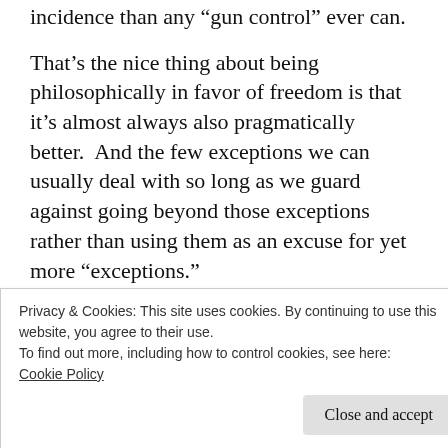incidence than any “gun control” ever can.
That’s the nice thing about being philosophically in favor of freedom is that it’s almost always also pragmatically better.  And the few exceptions we can usually deal with so long as we guard against going beyond those exceptions rather than using them as an excuse for yet more “exceptions.”
As for me. make mine freedom.
Privacy & Cookies: This site uses cookies. By continuing to use this website, you agree to their use.
To find out more, including how to control cookies, see here: Cookie Policy
[Figure (illustration): Colorful decorative banner with food and party emojis on a purple/magenta background]